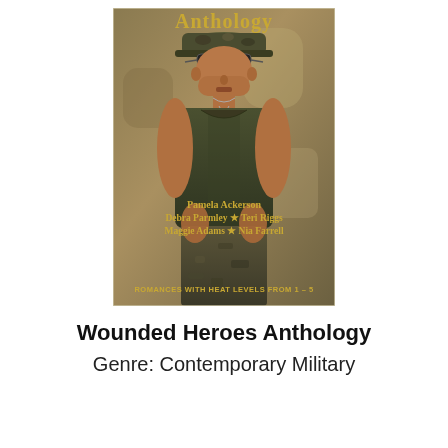[Figure (illustration): Book cover for Wounded Heroes Anthology. Shows a muscular man in a green army tank top and camouflage cap with sunglasses, wearing dog tags, against a sandy/khaki background. Title 'Anthology' in gold at top. Author names in gold: Pamela Ackerson, Debra Parmley, Teri Riggs, Maggie Adams, Nia Farrell. Tagline at bottom: ROMANCES WITH HEAT LEVELS FROM 1 - 5.]
Wounded Heroes Anthology
Genre: Contemporary Military